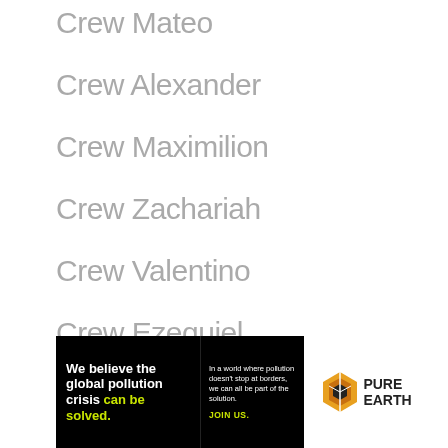Crew Mateo
Crew Alexander
Crew Maximilion
Crew Zachariah
Crew Valentino
Crew Ezequiel
Crew Emmanuel
[Figure (infographic): Pure Earth advertisement banner. Black background on the left with text 'We believe the global pollution crisis can be solved.' and on the right 'In a world where pollution doesn't stop at borders, we can all be part of the solution. JOIN US.' White background on right side with Pure Earth diamond logo and 'PURE EARTH' text.]